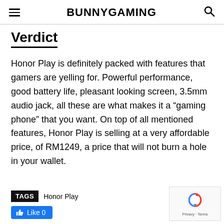BUNNYGAMING
Verdict
Honor Play is definitely packed with features that gamers are yelling for. Powerful performance, good battery life, pleasant looking screen, 3.5mm audio jack, all these are what makes it a “gaming phone” that you want. On top of all mentioned features, Honor Play is selling at a very affordable price, of RM1249, a price that will not burn a hole in your wallet.
TAGS  Honor Play
Like 0